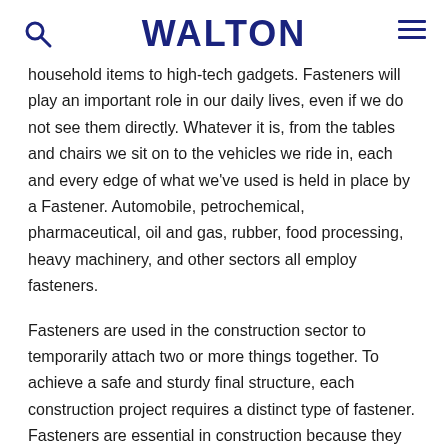WALTON
household items to high-tech gadgets. Fasteners will play an important role in our daily lives, even if we do not see them directly. Whatever it is, from the tables and chairs we sit on to the vehicles we ride in, each and every edge of what we've used is held in place by a Fastener. Automobile, petrochemical, pharmaceutical, oil and gas, rubber, food processing, heavy machinery, and other sectors all employ fasteners.
Fasteners are used in the construction sector to temporarily attach two or more things together. To achieve a safe and sturdy final structure, each construction project requires a distinct type of fastener. Fasteners are essential in construction because they keep each component, piece of